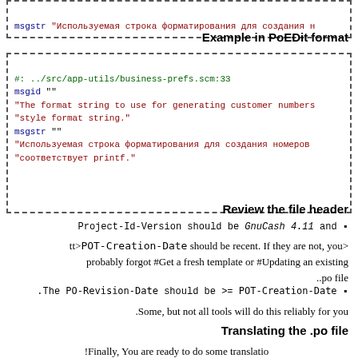msgstr "Используемая строка форматирования для создания н
Example in PoEDit format
#: ../src/app-utils/business-prefs.scm:33
msgid ""
"The format string to use for generating customer numbers
"style format string."
msgstr ""
"Используемая строка форматирования для создания номеров
"соответствует printf."
Review the file header
Project-Id-Version should be GnuCash 4.11 and ▪
tt>POT-Creation-Date should be recent. If they are not, you> probably forgot #Get a fresh template or #Updating an existing ..po file
.The PO-Revision-Date should be >= POT-Creation-Date ▪
.Some, but not all tools will do this reliably for you
Translating the .po file
!Finally, You are ready to do some translatio